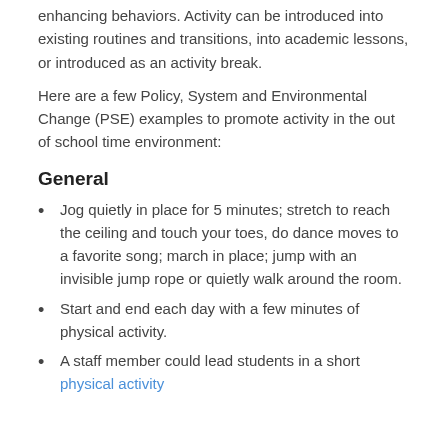enhancing behaviors. Activity can be introduced into existing routines and transitions, into academic lessons, or introduced as an activity break.
Here are a few Policy, System and Environmental Change (PSE) examples to promote activity in the out of school time environment:
General
Jog quietly in place for 5 minutes; stretch to reach the ceiling and touch your toes, do dance moves to a favorite song; march in place; jump with an invisible jump rope or quietly walk around the room.
Start and end each day with a few minutes of physical activity.
A staff member could lead students in a short physical activity